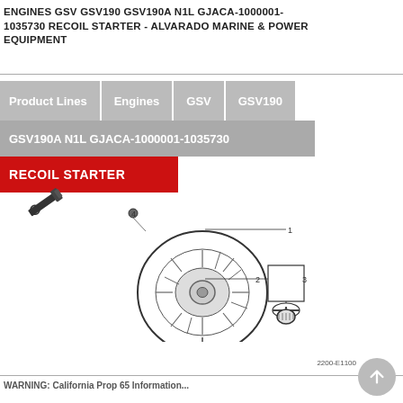ENGINES GSV GSV190 GSV190A N1L GJACA-1000001-1035730 RECOIL STARTER - ALVARADO MARINE & POWER EQUIPMENT
Product Lines | Engines | GSV | GSV190
GSV190A N1L GJACA-1000001-1035730
RECOIL STARTER
[Figure (schematic): Small screw/bolt icon and exploded parts diagram of a recoil starter assembly for Honda GSV190 engine, with numbered callouts (1, 2, 3, 4) pointing to parts including the main housing, pull cord handle, and mounting bolt.]
2200-E1100
WARNING: California Prop 65 Information...